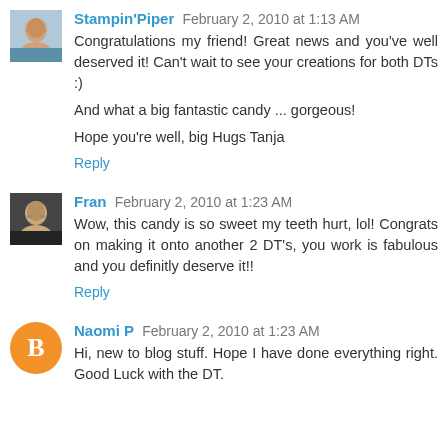[Figure (photo): Avatar photo of Stampin'Piper, a woman outdoors]
Stampin'Piper February 2, 2010 at 1:13 AM
Congratulations my friend! Great news and you've well deserved it! Can't wait to see your creations for both DTs :)

And what a big fantastic candy ... gorgeous!

Hope you're well, big Hugs Tanja
Reply
[Figure (photo): Avatar photo of Fran, a woman with glasses]
Fran February 2, 2010 at 1:23 AM
Wow, this candy is so sweet my teeth hurt, lol! Congrats on making it onto another 2 DT's, you work is fabulous and you definitly deserve it!!
Reply
[Figure (logo): Blogger default avatar icon, orange circle with B]
Naomi P February 2, 2010 at 1:23 AM
Hi, new to blog stuff. Hope I have done everything right. Good Luck with the DT.